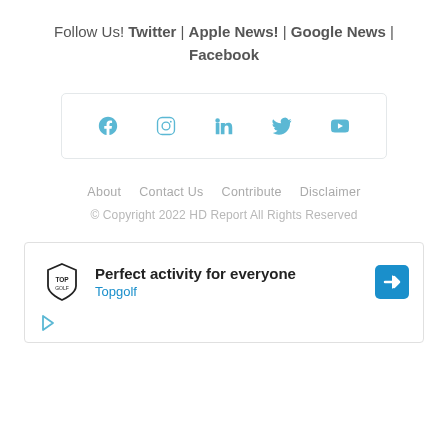Follow Us! Twitter | Apple News! | Google News | Facebook
[Figure (infographic): Row of 5 social media icons (Facebook, Instagram, LinkedIn, Twitter, YouTube) in teal/blue color inside a rounded rectangle border]
About   Contact Us   Contribute   Disclaimer
© Copyright 2022 HD Report All Rights Reserved
[Figure (other): Advertisement box for Topgolf: logo on left, text 'Perfect activity for everyone' and 'Topgolf' in blue, arrow icon on right, play icon at bottom left]